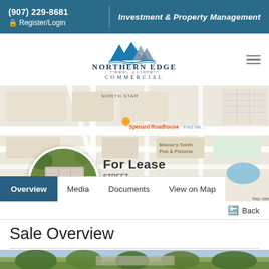(907) 229-8681 | Register/Login | Investment & Property Management
[Figure (logo): Northern Edge Real Estate Commercial logo with mountain/triangle shapes in blue and grey]
[Figure (map): Google Maps view showing Spenard Roadhouse area in Anchorage, Alaska with North Star label, Fred Meyer, Moose's Tooth Pub & Pizzeria visible]
[Figure (photo): Aerial photo of commercial building in Anchorage Alaska shown in a circular crop]
For Lease
STREET ANCHORAGE, ALASKA 99503
Overview   Media   Documents   View on Map
Back
Sale Overview
[Figure (photo): Exterior photo of commercial property, partially visible at bottom of page]